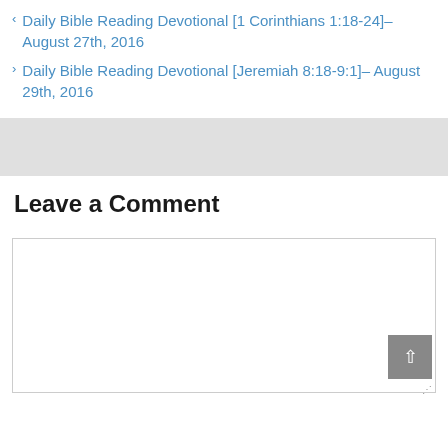< Daily Bible Reading Devotional [1 Corinthians 1:18-24]– August 27th, 2016
> Daily Bible Reading Devotional [Jeremiah 8:18-9:1]– August 29th, 2016
Leave a Comment
[Figure (screenshot): Empty comment textarea input box with scroll-to-top button in bottom right corner]